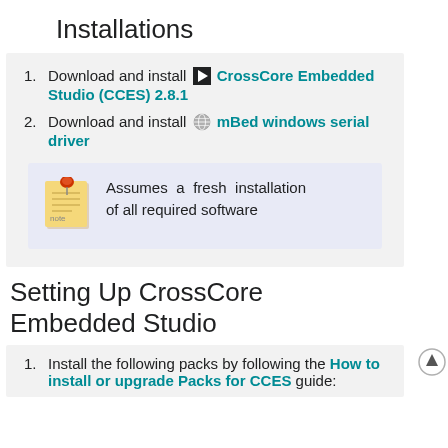Installations
Download and install CrossCore Embedded Studio (CCES) 2.8.1
Download and install mBed windows serial driver
Assumes a fresh installation of all required software
Setting Up CrossCore Embedded Studio
Install the following packs by following the How to install or upgrade Packs for CCES guide: